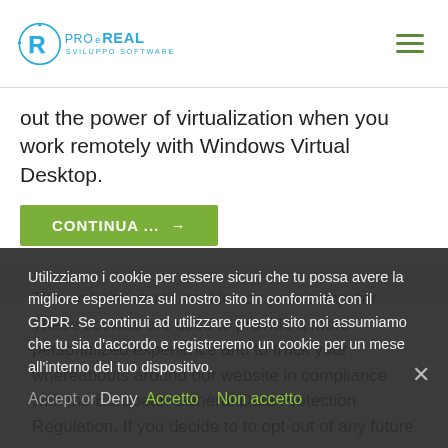PROeREAL SVILUPPO SOFTWARE
out the power of virtualization when you work remotely with Windows Virtual Desktop.
CONTINUA ... →
This website stores cookies on your computer. These cookies are used to provide a more personalized experience and to track your whereabouts around our website in compliance with the European General Data Protection Regulation. If you decide to to opt-out of any future
Utilizziamo i cookie per essere sicuri che tu possa avere la migliore esperienza sul nostro sito in conformità con il GDPR. Se continui ad utilizzare questo sito noi assumiamo che tu sia d'accordo e registreremo un cookie per un mese all'interno del tuo dispositivo.
Accept or Deny    Accetto    Non accetto